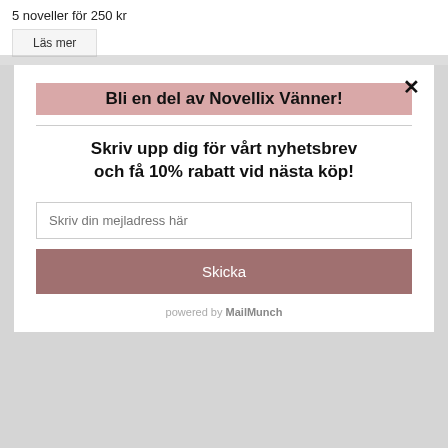5 noveller för 250 kr
Läs mer
Bli en del av Novellix Vänner!
Skriv upp dig för vårt nyhetsbrev och få 10% rabatt vid nästa köp!
Skriv din mejladress här
Skicka
powered by MailMunch